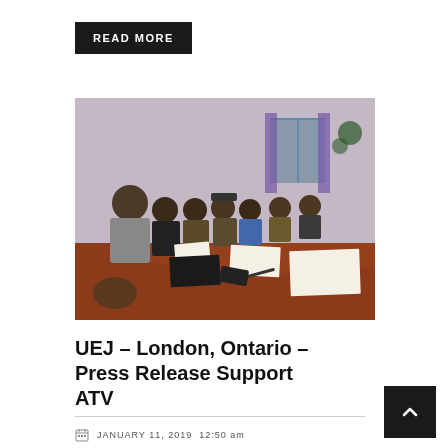READ MORE
[Figure (photo): Group of men seated around a large conference table in a meeting room, one man standing and speaking, with papers and documents on the table.]
UEJ – London, Ontario – Press Release Support ATV
JANUARY 11, 2019  12:50 am